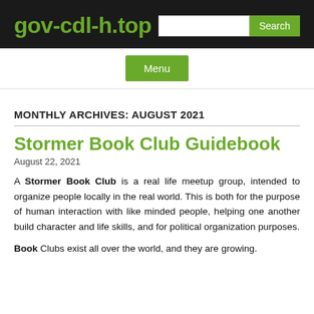gov-cdl-h.top
MONTHLY ARCHIVES: AUGUST 2021
Stormer Book Club Guidebook
August 22, 2021
A Stormer Book Club is a real life meetup group, intended to organize people locally in the real world. This is both for the purpose of human interaction with like minded people, helping one another build character and life skills, and for political organization purposes.
Book Clubs exist all over the world, and they are growing.